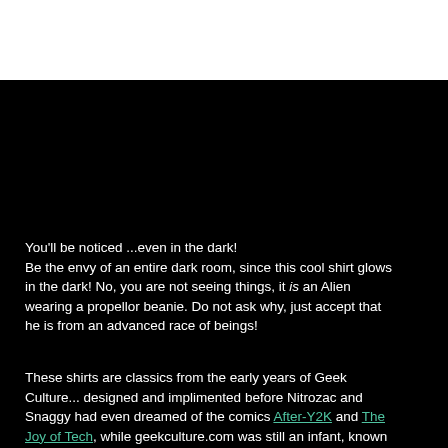You'll be noticed ...even in the dark! Be the envy of an entire dark room, since this cool shirt glows in the dark! No, you are not seeing things, it is an Alien wearing a propellor beanie. Do not ask why, just accept that he is from an advanced race of beings!
These shirts are classics from the early years of Geek Culture... designed and implimented before Nitrozac and Snaggy had even dreamed of the comics After-Y2K and The Joy of Tech, while geekculture.com was still an infant, known only to a few lucky surfers. Now's your chance to own a piece of history before this shirt enters the